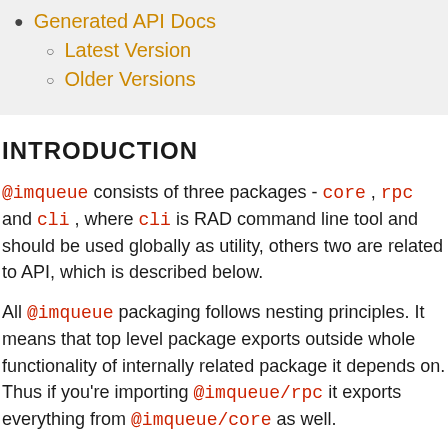Generated API Docs
Latest Version
Older Versions
INTRODUCTION
@imqueue consists of three packages - core, rpc and cli, where cli is RAD command line tool and should be used globally as utility, others two are related to API, which is described below.
All @imqueue packaging follows nesting principles. It means that top level package exports outside whole functionality of internally related package it depends on. Thus if you're importing @imqueue/rpc it exports everything from @imqueue/core as well.
That all provides the ability to use single import whenever you